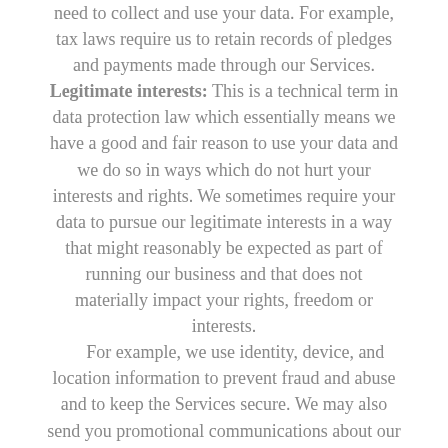need to collect and use your data. For example, tax laws require us to retain records of pledges and payments made through our Services. Legitimate interests: This is a technical term in data protection law which essentially means we have a good and fair reason to use your data and we do so in ways which do not hurt your interests and rights. We sometimes require your data to pursue our legitimate interests in a way that might reasonably be expected as part of running our business and that does not materially impact your rights, freedom or interests.

For example, we use identity, device, and location information to prevent fraud and abuse and to keep the Services secure. We may also send you promotional communications about our Services, subject to your right to control whether we do so.

We may also pursue interests with our Site or in